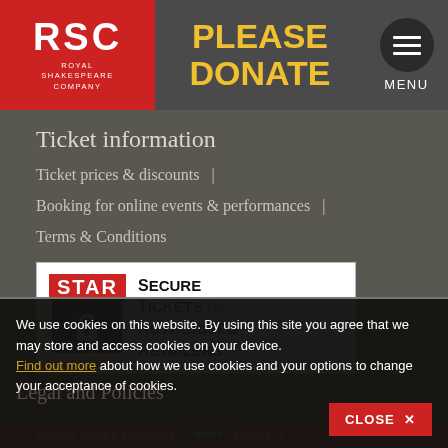[Figure (logo): RSC Royal Shakespeare Company red logo in header]
PLEASE DONATE
[Figure (other): Hamburger menu icon circle with MENU label]
Ticket information
Ticket prices & discounts  |
Booking for online events & performances  |
Terms & Conditions
[Figure (logo): STAR Secure Tickets from Authorised Retailers badge]
Press
We use cookies on this website. By using this site you agree that we may store and access cookies on your device. Find out more about how we use cookies and your options to change your acceptance of cookies.
Legal and Policies
Website Terms & Conditions  + MORE  Privacy  |